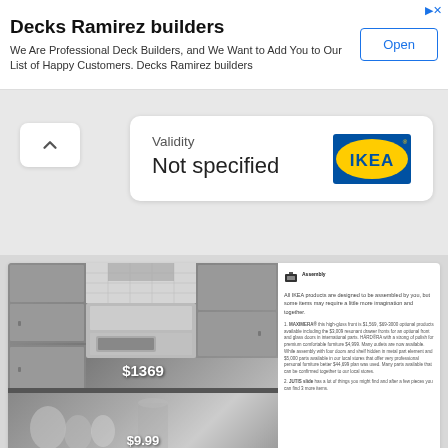Decks Ramirez builders
We Are Professional Deck Builders, and We Want to Add You to Our List of Happy Customers. Decks Ramirez builders
Validity
Not specified
[Figure (logo): IKEA logo - blue oval with yellow IKEA text]
[Figure (photo): IKEA catalog page showing a gray kitchen with built-in oven and microwave, price tag $1369]
[Figure (photo): IKEA catalog page bottom section showing glassware/kitchenware, price tag $9.99]